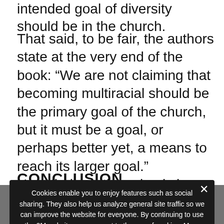intended goal of diversity should be in the church.
That said, to be fair, the authors state at the very end of the book: “We are not claiming that becoming multiracial should be the primary goal of the church, but it must be a goal, or perhaps better yet, a means to reach its larger goal.” Nonetheless, they simply leave this “larger goal” ambiguous.
CONCLUSION
To pu... theologically... and historically rel... and multi... underwhelming. Yet, through it leaves much to be desired in terms of theological depth, United By Faith is a very welcome contribution and a worthy
Cookies enable you to enjoy features such as social sharing. They also help us analyze general site traffic so we can improve the website for everyone. By continuing to use the 9M website, you consent to the use of cookies. More information is available on our Privacy Policy.